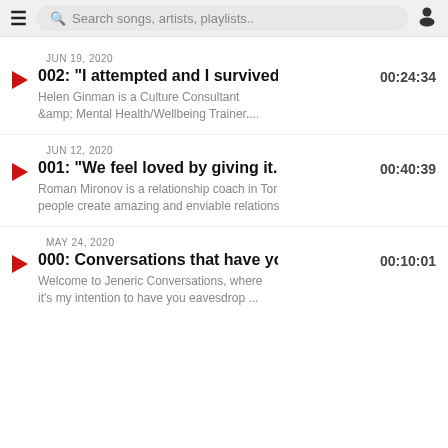Search songs, artists, playlists..
JUN 19, 2020
002: "I attempted and I survived."
Helen Ginman is a Culture Consultant &amp; Mental Health/Wellbeing Trainer....
00:24:34
JUN 12, 2020
001: "We feel loved by giving it." In
Roman Mironov is a relationship coach in Tor people create amazing and enviable relations
00:40:39
MAY 24, 2020
000: Conversations that have you
Welcome to Jeneric Conversations, where it's my intention to have you eavesdrop ...
00:10:01